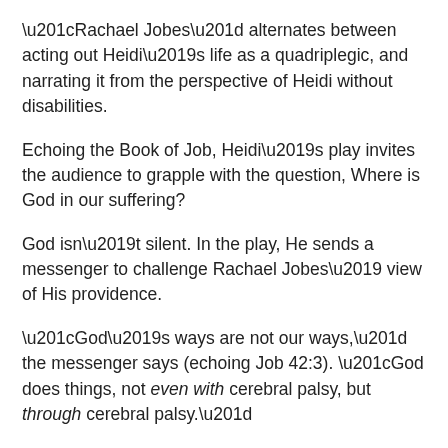“Rachael Jobes” alternates between acting out Heidi’s life as a quadriplegic, and narrating it from the perspective of Heidi without disabilities.
Echoing the Book of Job, Heidi’s play invites the audience to grapple with the question, Where is God in our suffering?
God isn’t silent. In the play, He sends a messenger to challenge Rachael Jobes’ view of His providence.
“God’s ways are not our ways,” the messenger says (echoing Job 42:3). “God does things, not even with cerebral palsy, but through cerebral palsy.”